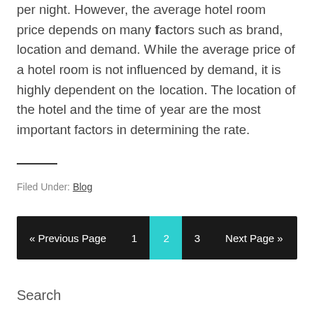per night. However, the average hotel room price depends on many factors such as brand, location and demand. While the average price of a hotel room is not influenced by demand, it is highly dependent on the location. The location of the hotel and the time of year are the most important factors in determining the rate.
Filed Under: Blog
« Previous Page  1  2  3  Next Page »
Search